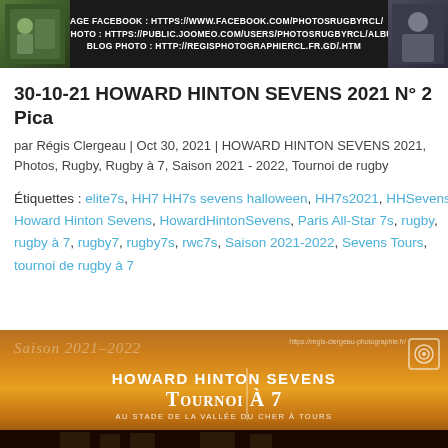[Figure (photo): Dark banner with photographer photo on left, portrait on right, text in center showing PAGE FACEBOOK, SITE PHOTO, and BLOG PHOTO URLs]
30-10-21 HOWARD HINTON SEVENS 2021 N° 2 Pica
par Régis Clergeau | Oct 30, 2021 | HOWARD HINTON SEVENS 2021, Photos, Rugby, Rugby à 7, Saison 2021 - 2022, Tournoi de rugby
Étiquettes : elite7s, HH7 HH7s sevens halloween, HH7s2021, HHSevens, Howard Hinton Sevens, HowardHintonSevens, Paris All-Star 7s, rugby, rugby à 7, rugby7, rugby7s, rwc7s, Saison 2021-2022, Sevens Tours, tournoi de rugby à 7
[Figure (photo): Dark panoramic image with SAISON 2021-2022 italic text, HOWARD HINTON SEVENS title, TOURNOI À 7 subtitle, and AU STADE DE LA VALLÉE DU CHER À TOURS text, warm sunset tones]